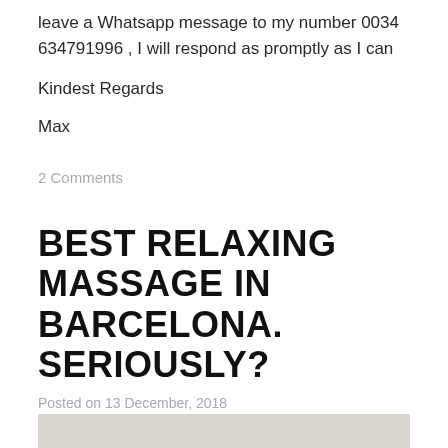leave a Whatsapp message to my number 0034 634791996 , I will respond as promptly as I can
Kindest Regards
Max
2 Comments
BEST RELAXING MASSAGE IN BARCELONA. SERIOUSLY?
Posted on 13 December, 2018
[Figure (photo): Bottom edge of an image, showing a light beige/grey background, partially visible at the bottom of the page.]